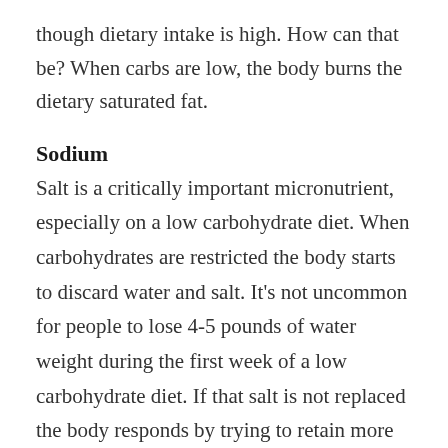though dietary intake is high. How can that be? When carbs are low, the body burns the dietary saturated fat.
Sodium
Salt is a critically important micronutrient, especially on a low carbohydrate diet. When carbohydrates are restricted the body starts to discard water and salt. It’s not uncommon for people to lose 4-5 pounds of water weight during the first week of a low carbohydrate diet. If that salt is not replaced the body responds by trying to retain more salt. This primarily happens in the kidneys. As a result, the kidneys start to waste potassium leading to a negative potassium balance. What does all this mean? The loss of water and salt can reduce plasma volume and make you feel sluggish and compromise your ability to perform in the weight room. Some people get headaches and feel faint. The loss of potassium can have a negative impact on